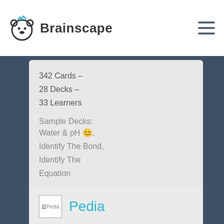Brainscape
342 Cards –
28 Decks –
33 Learners
Sample Decks: Water & pH 😊, Identify The Bond, Identify The Equation
[Figure (other): Pedia flashcard deck logo thumbnail]
Pedia
FLASHCARD MAKER
KRINGKRING B